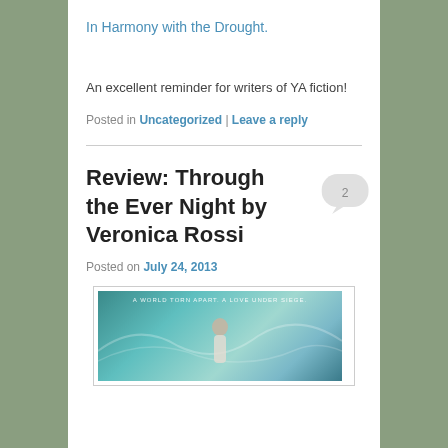In Harmony with the Drought.
An excellent reminder for writers of YA fiction!
Posted in Uncategorized | Leave a reply
Review: Through the Ever Night by Veronica Rossi
Posted on July 24, 2013
[Figure (photo): Book cover for Through the Ever Night by Veronica Rossi showing a figure against a teal/blue stormy sky background with tagline 'A World Torn Apart. A Love Under Siege.']